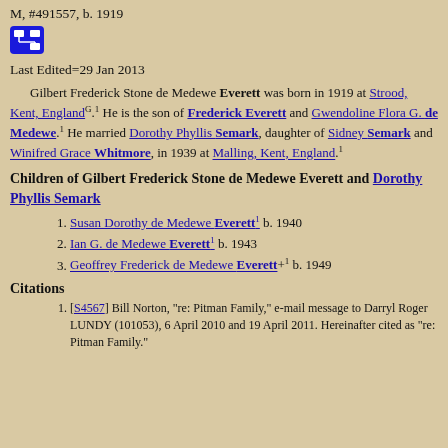M, #491557, b. 1919
[Figure (other): Blue icon box with family tree / hierarchy symbol in white]
Last Edited=29 Jan 2013
Gilbert Frederick Stone de Medewe Everett was born in 1919 at Strood, Kent, EnglandG.1 He is the son of Frederick Everett and Gwendoline Flora G. de Medewe.1 He married Dorothy Phyllis Semark, daughter of Sidney Semark and Winifred Grace Whitmore, in 1939 at Malling, Kent, England.1
Children of Gilbert Frederick Stone de Medewe Everett and Dorothy Phyllis Semark
Susan Dorothy de Medewe Everett1 b. 1940
Ian G. de Medewe Everett1 b. 1943
Geoffrey Frederick de Medewe Everett+1 b. 1949
Citations
[S4567] Bill Norton, "re: Pitman Family," e-mail message to Darryl Roger LUNDY (101053), 6 April 2010 and 19 April 2011. Hereinafter cited as "re: Pitman Family."